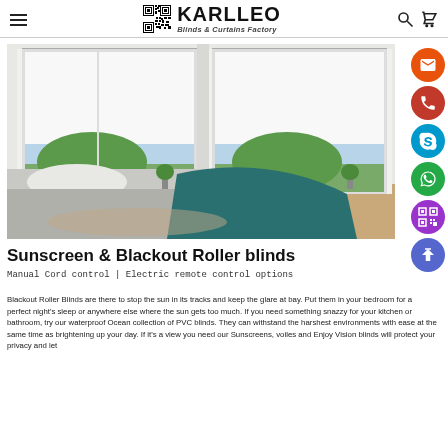KARLLEO Blinds & Curtains Factory
[Figure (photo): Bedroom scene with white roller blinds on two windows, bed with grey and teal bedding, wooden floor]
Sunscreen & Blackout Roller blinds
Manual Cord control | Electric remote control options
Blackout Roller Blinds are there to stop the sun in its tracks and keep the glare at bay. Put them in your bedroom for a perfect night's sleep or anywhere else where the sun gets too much. If you need something snazzy for your kitchen or bathroom, try our waterproof Ocean collection of PVC blinds. They can withstand the harshest environments with ease at the same time as brightening up your day. If it's a view you need our Sunscreens, voiles and Enjoy Vision blinds will protect your privacy and let